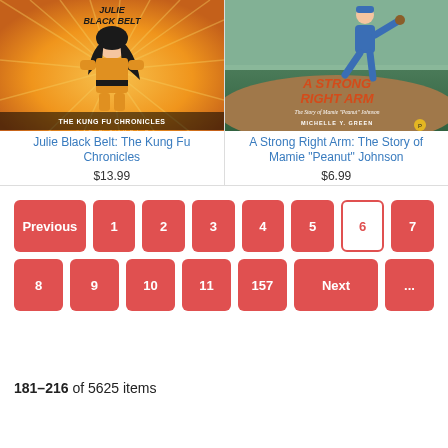[Figure (illustration): Book cover: Julie Black Belt: The Kung Fu Chronicles - orange background with anime-style girl in martial arts outfit]
Julie Black Belt: The Kung Fu Chronicles
$13.99
[Figure (illustration): Book cover: A Strong Right Arm: The Story of Mamie 'Peanut' Johnson - green background with baseball pitcher illustration]
A Strong Right Arm: The Story of Mamie "Peanut" Johnson
$6.99
Previous 1 2 3 4 5 6 7
8 9 10 11 157 Next ...
181–216 of 5625 items